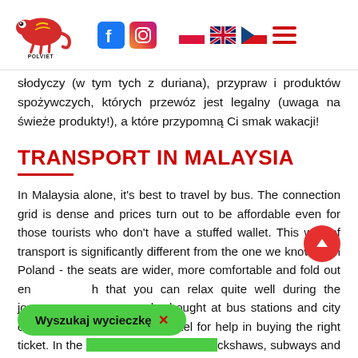Polviet Travel — navigation header with logo, Facebook, Instagram icons, Polish, UK, Czech flags, and hamburger menu
słodyczy (w tym tych z duriana), przypraw i produktów spożywczych, których przewóz jest legalny (uwaga na świeże produkty!), a które przypomną Ci smak wakacji!
TRANSPORT IN MALAYSIA
In Malaysia alone, it's best to travel by bus. The connection grid is dense and prices turn out to be affordable even for those tourists who don't have a stuffed wallet. This way of transport is significantly different from the one we know from Poland - the seats are wider, more comfortable and fold out enough that you can relax quite well during the journey. Tickets can be bought at bus stations and city offices, as well as ask the hotel for help in buying the right ticket. In the cities, rickshaws, subways and queues at whi...